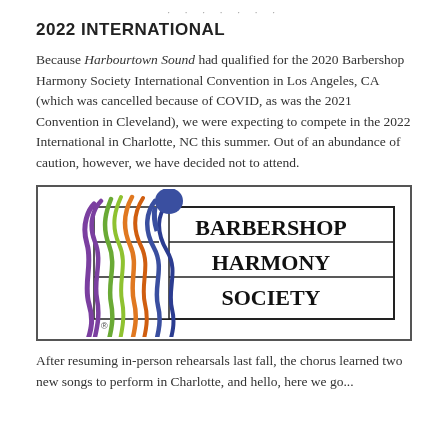· · · · · · ·
2022 INTERNATIONAL
Because Harbourtown Sound had qualified for the 2020 Barbershop Harmony Society International Convention in Los Angeles, CA (which was cancelled because of COVID, as was the 2021 Convention in Cleveland), we were expecting to compete in the 2022 International in Charlotte, NC this summer. Out of an abundance of caution, however, we have decided not to attend.
[Figure (logo): Barbershop Harmony Society logo featuring four colorful wavy figures (purple, green/yellow, orange, blue-purple) beside a rectangular emblem with the text BARBERSHOP HARMONY SOCIETY in bold serif font, with a registered trademark symbol.]
After resuming in-person rehearsals last fall, the chorus learned two new songs to perform in Charlotte, and hello, here we go...